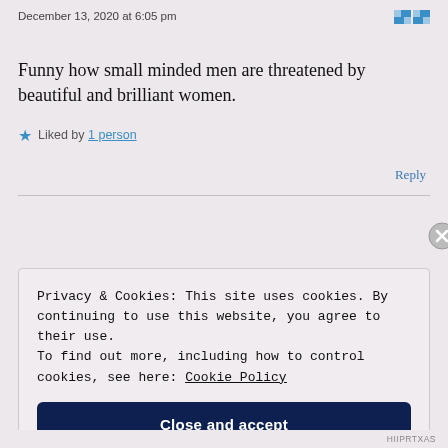December 13, 2020 at 6:05 pm
Funny how small minded men are threatened by beautiful and brilliant women.
★ Liked by 1 person
Reply
Privacy & Cookies: This site uses cookies. By continuing to use this website, you agree to their use. To find out more, including how to control cookies, see here: Cookie Policy
Close and accept